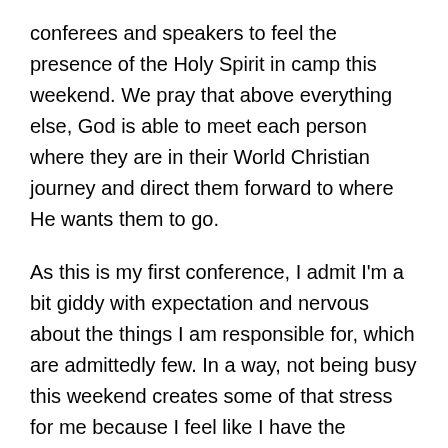conferees and speakers to feel the presence of the Holy Spirit in camp this weekend. We pray that above everything else, God is able to meet each person where they are in their World Christian journey and direct them forward to where He wants them to go.
As this is my first conference, I admit I'm a bit giddy with expectation and nervous about the things I am responsible for, which are admittedly few. In a way, not being busy this weekend creates some of that stress for me because I feel like I have the bandwidth to pitch in wherever help is needed. At the same time, I want to get the real WCC experience and not get overly involved in the details and behind-the-scenes planning that goes on all weekend long.
I hope to be able to check in via blog at various times